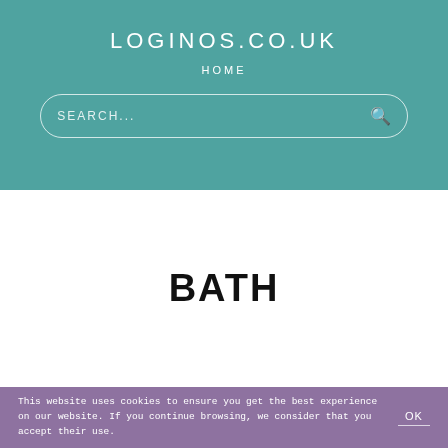LOGINOS.CO.UK
HOME
SEARCH...
BATH
This website uses cookies to ensure you get the best experience on our website. If you continue browsing, we consider that you accept their use.